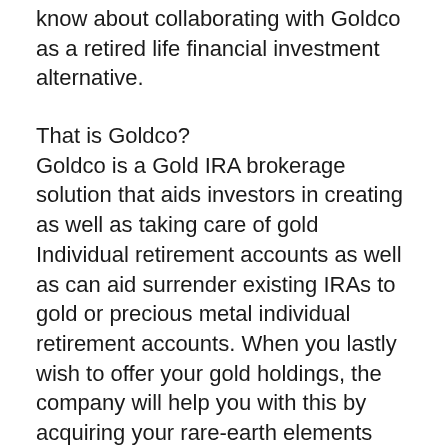know about collaborating with Goldco as a retired life financial investment alternative.
That is Goldco?
Goldco is a Gold IRA brokerage solution that aids investors in creating as well as taking care of gold Individual retirement accounts as well as can aid surrender existing IRAs to gold or precious metal individual retirement accounts. When you lastly wish to offer your gold holdings, the company will help you with this by acquiring your rare-earth elements from you or selling them on your behalf in the steel market.
Based in Woodland Hills in The Golden State, Goldco Rare-earth elements was begun in 2006 as a solution that provided self-directed